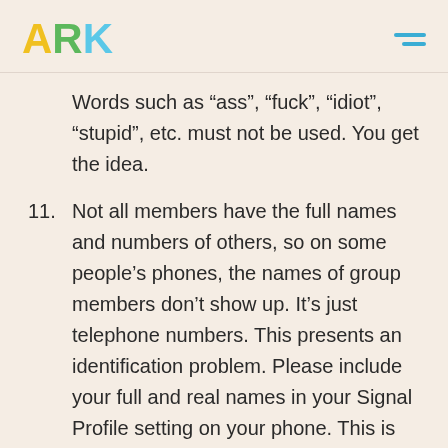ARK
Words such as “lass”, “fuck”, “idiot”, “stupid”, etc. must not be used. You get the idea.
11. Not all members have the full names and numbers of others, so on some people’s phones, the names of group members don’t show up. It’s just telephone numbers. This presents an identification problem. Please include your full and real names in your Signal Profile setting on your phone. This is important.